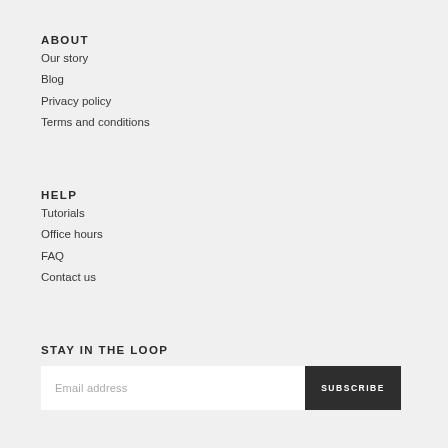ABOUT
Our story
Blog
Privacy policy
Terms and conditions
HELP
Tutorials
Office hours
FAQ
Contact us
STAY IN THE LOOP
Email address
SUBSCRIBE